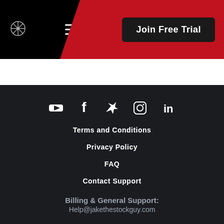Join Free Trial
Terms and Conditions
Privacy Policy
FAQ
Contact Support
Billing & General Support:
Help@jakethestockguy.com